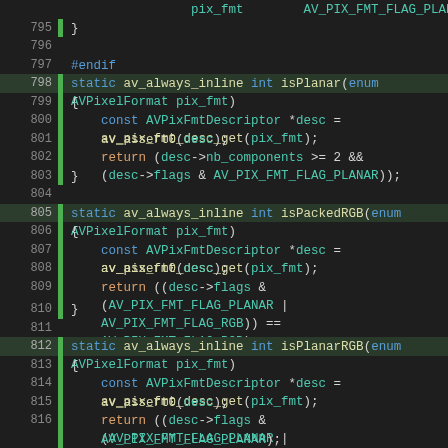[Figure (screenshot): Source code viewer showing C code lines 795-816, with syntax highlighting. Dark background IDE view with green gutter markers on certain lines, blue keywords, teal types, yellow function names, orange return statements, and grey line numbers.]